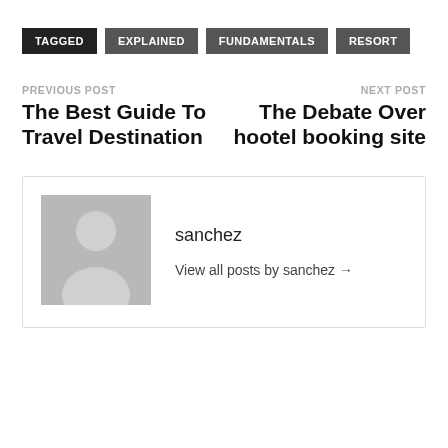TAGGED  EXPLAINED  FUNDAMENTALS  RESORT
PREVIOUS POST
The Best Guide To Travel Destination
NEXT POST
The Debate Over hootel booking site
[Figure (illustration): Avatar placeholder image: grey square with silhouette of a person (head circle and shoulders)]
sanchez
View all posts by sanchez →